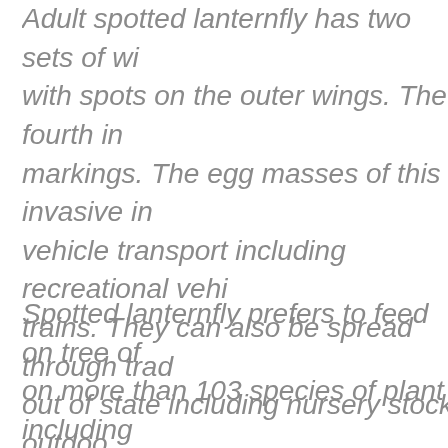Adult spotted lanternfly has two sets of wings with spots on the outer wings. The fourth instar markings. The egg masses of this invasive insect vehicle transport including recreational vehicles, trains. They can also be spread through trade out of state including nursery stock, outdoor from the east coast should inspect for signs kept outdoors.
Spotted lanternfly prefers to feed on tree of heaven on more than 103 species of plant including insect is often found on grapevines in vineyards mouthparts and weaken the plants through plant to survive the winter months. Congregating collectively kill "honeydew" in the